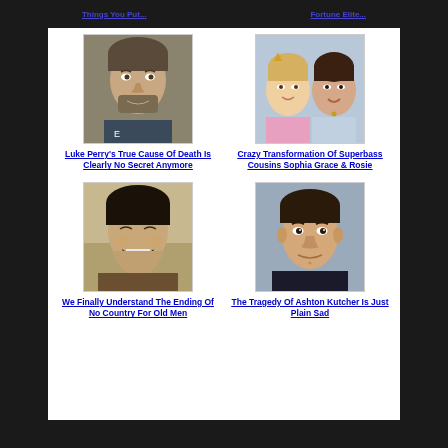Things You Put...
Fortune Elite...
[Figure (photo): Photo of Luke Perry, middle-aged man with stubble]
Luke Perry's True Cause Of Death Is Clearly No Secret Anymore
[Figure (photo): Photo of two young girls, Sophia Grace and Rosie]
Crazy Transformation Of Superbass Cousins Sophia Grace & Rosie
[Figure (photo): Photo of man laughing, scene from No Country For Old Men]
We Finally Understand The Ending Of No Country For Old Men
[Figure (photo): Photo of Ashton Kutcher]
The Tragedy Of Ashton Kutcher Is Just Plain Sad